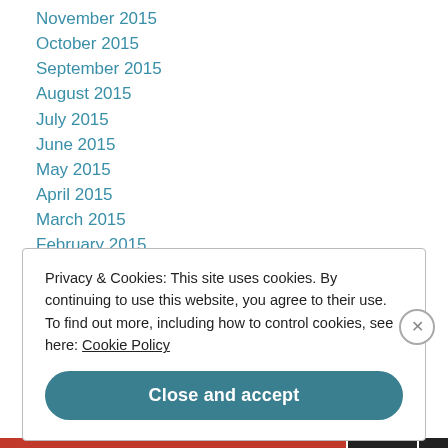November 2015
October 2015
September 2015
August 2015
July 2015
June 2015
May 2015
April 2015
March 2015
February 2015
January 2015
Privacy & Cookies: This site uses cookies. By continuing to use this website, you agree to their use. To find out more, including how to control cookies, see here: Cookie Policy
Close and accept